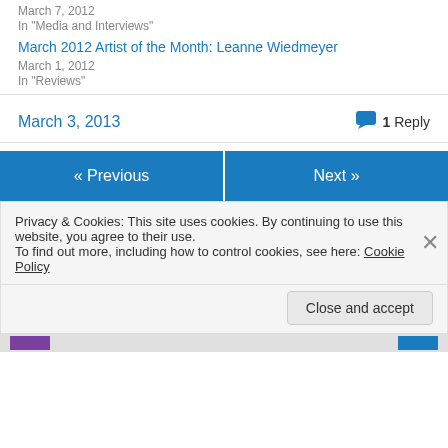March 7, 2012
In "Media and Interviews"
March 2012 Artist of the Month: Leanne Wiedmeyer
March 1, 2012
In "Reviews"
March 3, 2013
1 Reply
« Previous
Next »
Privacy & Cookies: This site uses cookies. By continuing to use this website, you agree to their use.
To find out more, including how to control cookies, see here: Cookie Policy
Close and accept